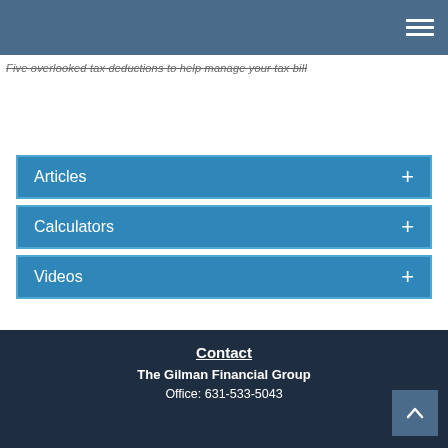Five overlooked tax deductions to help manage your tax bill
Articles +
Calculators +
Videos +
Contact
The Gilman Financial Group
Office: 631-533-5043